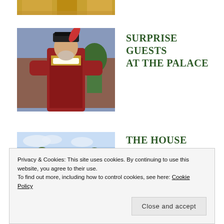[Figure (photo): Cropped bottom portion of an image showing golden/decorative objects]
[Figure (photo): Man dressed in Tudor/Henry VIII costume with red and gold robes and a feathered hat, standing outside a brick building]
SURPRISE GUESTS AT THE PALACE
[Figure (photo): Aerial/landscape view of a large English country house surrounded by green trees and rolling lawn, likely Chartwell]
THE HOUSE CHURCHILL CALLED HOME
Privacy & Cookies: This site uses cookies. By continuing to use this website, you agree to their use.
To find out more, including how to control cookies, see here: Cookie Policy
Close and accept